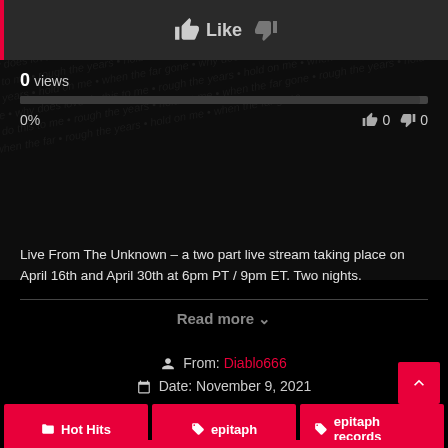[Figure (screenshot): YouTube-style video interface showing Like button and dislike icon on dark bar]
0 views
0%  👍 0  👎 0
Live From The Unknown – a two part live stream taking place on April 16th and April 30th at 6pm PT / 9pm ET. Two nights.
Read more ∨
From: Diablo666
Date: November 9, 2021
Hot Hits
epitaph
epitaph records